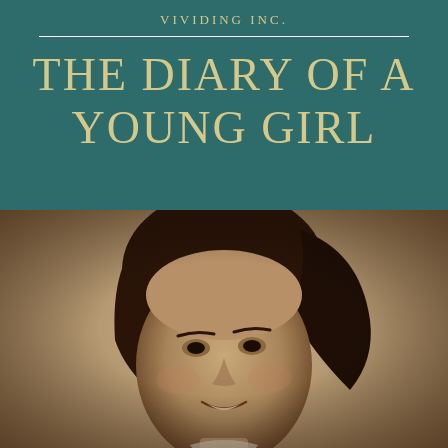VIVIDING INC.
THE DIARY OF A YOUNG GIRL
[Figure (photo): Sepia-toned portrait photograph of a young girl (Anne Frank) smiling, with dark curly hair, against a background of handwritten cursive diary text]